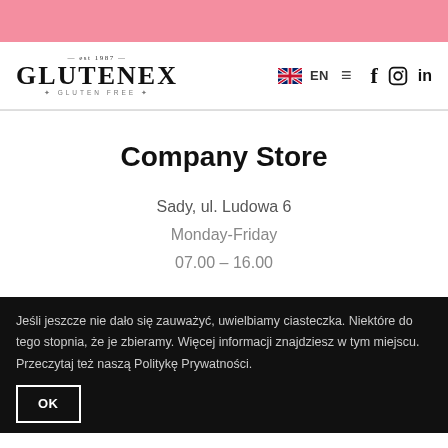[Figure (logo): Glutenex logo with 'est 1987' above and 'GLUTEN FREE' below in serif font]
EN  ☰  f  ⓘ  in
Company Store
Sady, ul. Ludowa 6
Monday-Friday
07.00 – 16.00
Jeśli jeszcze nie dało się zauważyć, uwielbiamy ciasteczka. Niektóre do tego stopnia, że je zbieramy. Więcej informacji znajdziesz w tym miejscu. Przeczytaj też naszą Politykę Prywatności.
OK